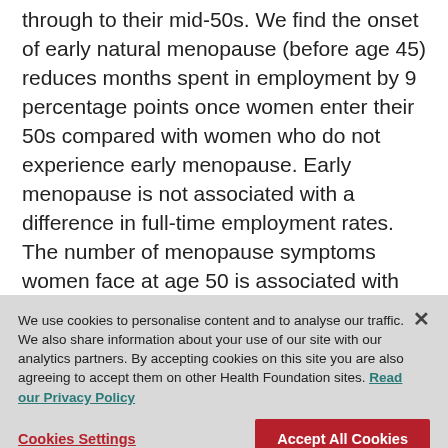through to their mid-50s. We find the onset of early natural menopause (before age 45) reduces months spent in employment by 9 percentage points once women enter their 50s compared with women who do not experience early menopause. Early menopause is not associated with a difference in full-time employment rates. The number of menopause symptoms women face at age 50 is associated with lower employment rates: each additional symptom lowers employment rates and full-time employment rates by around half a percentage point. But not all symptoms are the...
We use cookies to personalise content and to analyse our traffic. We also share information about your use of our site with our analytics partners. By accepting cookies on this site you are also agreeing to accept them on other Health Foundation sites. Read our Privacy Policy
Cookies Settings
Accept All Cookies